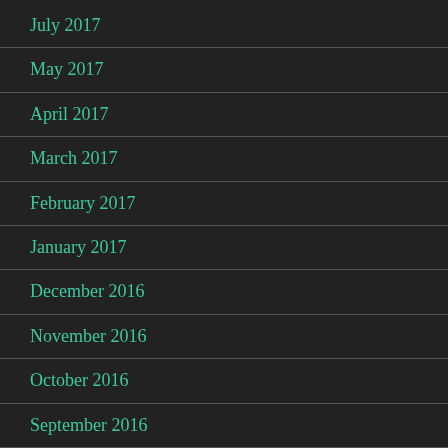July 2017
May 2017
April 2017
March 2017
February 2017
January 2017
December 2016
November 2016
October 2016
September 2016
August 2016